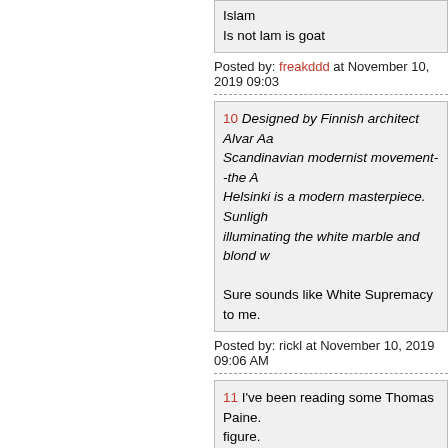Islam
Is not lam is goat
Posted by: freakddd at November 10, 2019 09:03
10 Designed by Finnish architect Alvar Aa... Scandinavian modernist movement--the A... Helsinki is a modern masterpiece. Sunligh... illuminating the white marble and blond w...

Sure sounds like White Supremacy to me.
Posted by: rickl at November 10, 2019 09:06 AM
11 I've been reading some Thomas Paine. figure.
Posted by: freakddd at November 10, 2019 09:06
12 ...he did little or no research into manu... sources

What could possibly go wrong?
Posted by: Notorious BED at November 10, 201